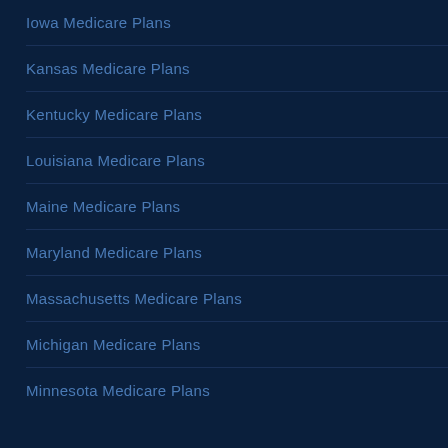Iowa Medicare Plans
Kansas Medicare Plans
Kentucky Medicare Plans
Louisiana Medicare Plans
Maine Medicare Plans
Maryland Medicare Plans
Massachusetts Medicare Plans
Michigan Medicare Plans
Minnesota Medicare Plans